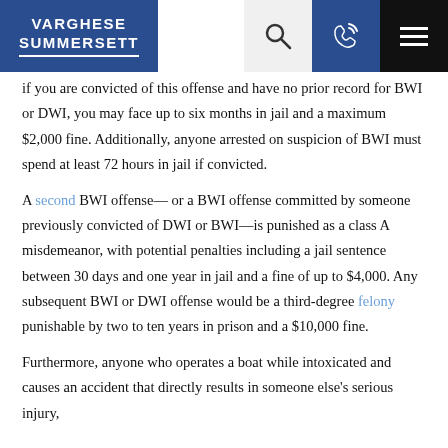VARGHESE SUMMERSETT
if you are convicted of this offense and have no prior record for BWI or DWI, you may face up to six months in jail and a maximum $2,000 fine. Additionally, anyone arrested on suspicion of BWI must spend at least 72 hours in jail if convicted.
A second BWI offense— or a BWI offense committed by someone previously convicted of DWI or BWI—is punished as a class A misdemeanor, with potential penalties including a jail sentence between 30 days and one year in jail and a fine of up to $4,000. Any subsequent BWI or DWI offense would be a third-degree felony punishable by two to ten years in prison and a $10,000 fine.
Furthermore, anyone who operates a boat while intoxicated and causes an accident that directly results in someone else's serious injury, they will face a felony charge...